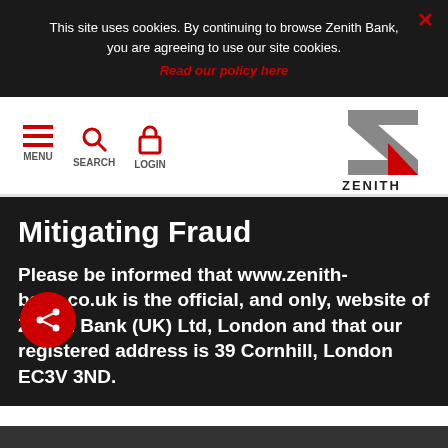This site uses cookies. By continuing to browse Zenith Bank, you are agreeing to use our site cookies. Read our policy here
[Figure (logo): Zenith Bank logo — stylized Z in grey and red with ZENITH text below]
MENU SEARCH LOGIN navigation icons
Mitigating Fraud
Please be informed that www.zenith-bank.co.uk is the official, and only, website of Zenith Bank (UK) Ltd, London and that our registered address is 39 Cornhill, London EC3V 3ND.